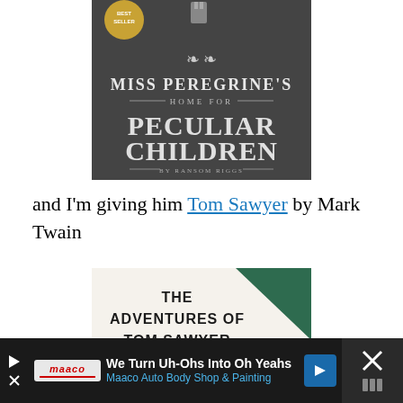[Figure (photo): Book cover of Miss Peregrine's Home for Peculiar Children by Ransom Riggs, dark grey background with ornate typography and a Best Seller badge]
and I'm giving him Tom Sawyer by Mark Twain
[Figure (photo): Book cover of The Adventures of Tom Sawyer, light cream background with bold black text and a green geometric element with a circular graphic below]
[Figure (screenshot): Advertisement bar for Maaco Auto Body Shop & Painting: 'We Turn Uh-Ohs Into Oh Yeahs']